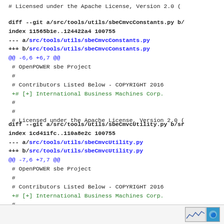# Licensed under the Apache License, Version 2.0 (
diff --git a/src/tools/utils/sbeCmvcConstants.py b/
index 11565b1e..124422a4 100755
--- a/src/tools/utils/sbeCmvcConstants.py
+++ b/src/tools/utils/sbeCmvcConstants.py
@@ -6,6 +6,7 @@
 # OpenPOWER sbe Project
 #
 # Contributors Listed Below - COPYRIGHT 2016
+# [+] International Business Machines Corp.
 #
 #
 # Licensed under the Apache License, Version 2.0 (
diff --git a/src/tools/utils/sbeCmvcUtility.py b/sr
index 1cd411fc..110a8e2c 100755
--- a/src/tools/utils/sbeCmvcUtility.py
+++ b/src/tools/utils/sbeCmvcUtility.py
@@ -7,6 +7,7 @@
 # OpenPOWER sbe Project
 #
 # Contributors Listed Below - COPYRIGHT 2016
+# [+] International Business Machines Corp.
 #
 #
 # Licensed under the Apache License, Version 2.0 (